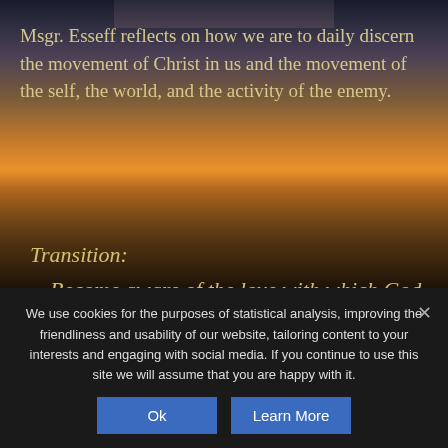[Figure (photo): Scenic background image showing a dramatic sky with clouds and a warm sunset/sunrise over a mountainous landscape, with a silhouette of a person standing. Top strip shows a partial photo of a person (portrait).]
Msgr. Esseff reflects on how we are to daily discern the movement of Christ in us and the movement of the self, the world, and the activity of the enemy.
Transition:
Become aware of the love with which God looks upon me as I begin this
We use cookies for the purposes of statistical analysis, improving the friendliness and usability of our website, tailoring content to your interests and engaging with social media. If you continue to use this site we will assume that you are happy with it.
Ok
Learn More